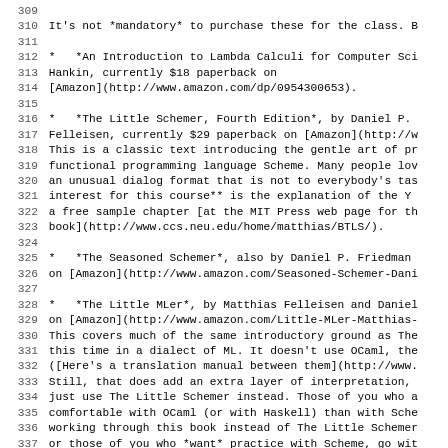309
310 It's not *mandatory* to purchase these for the class. B
311
312 *   *An Introduction to Lambda Calculi for Computer Sci
313 Hankin, currently $18 paperback on
314 [Amazon](http://www.amazon.com/dp/0954300653).
315
316 *   *The Little Schemer, Fourth Edition*, by Daniel P.
317 Felleisen, currently $29 paperback on [Amazon](http://w
318 This is a classic text introducing the gentle art of pr
319 functional programming language Scheme. Many people lov
320 an unusual dialog format that is not to everybody's tas
321 interest for this course** is the explanation of the Y
322 a free sample chapter [at the MIT Press web page for th
323 book](http://www.ccs.neu.edu/home/matthias/BTLS/).
324
325 *   *The Seasoned Schemer*, also by Daniel P. Friedman
326 on [Amazon](http://www.amazon.com/Seasoned-Schemer-Dani
327
328 *   *The Little MLer*, by Matthias Felleisen and Daniel
329 on [Amazon](http://www.amazon.com/Little-MLer-Matthias-
330 This covers much of the same introductory ground as The
331 this time in a dialect of ML. It doesn't use OCaml, the
332 ([Here's a translation manual between them](http://www.
333 Still, that does add an extra layer of interpretation,
334 just use The Little Schemer instead. Those of you who a
335 comfortable with OCaml (or with Haskell) than with Sche
336 working through this book instead of The Little Schemer
337 or those of you who *want* practice with Scheme, go wit
338
339 *   *The Haskell Road to Logic, Math and Programming*,
340 (The book also seems to be available online [here](http
341